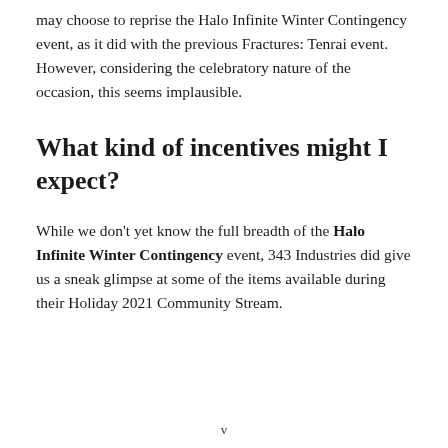may choose to reprise the Halo Infinite Winter Contingency event, as it did with the previous Fractures: Tenrai event. However, considering the celebratory nature of the occasion, this seems implausible.
What kind of incentives might I expect?
While we don't yet know the full breadth of the Halo Infinite Winter Contingency event, 343 Industries did give us a sneak glimpse at some of the items available during their Holiday 2021 Community Stream.
v